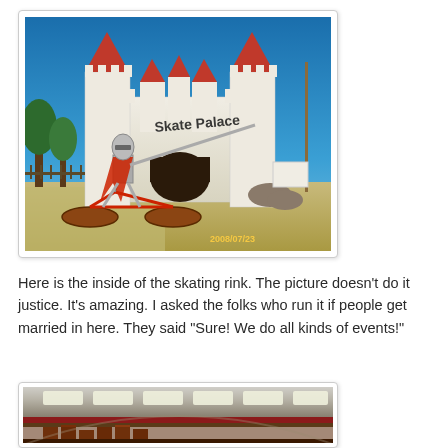[Figure (photo): Exterior photo of Skate Palace building styled as a white castle with red turrets. In the foreground is a metal knight sculpture riding a red bicycle with wooden wheels. Date stamp reads 2008/07/23.]
Here is the inside of the skating rink. The picture doesn't do it justice. It's amazing. I asked the folks who run it if people get married in here. They said "Sure! We do all kinds of events!"
[Figure (photo): Interior photo of the skating rink showing the ceiling with recessed lighting panels and decorative drapery along the walls and a reddish organ or pipe structure visible at the bottom.]